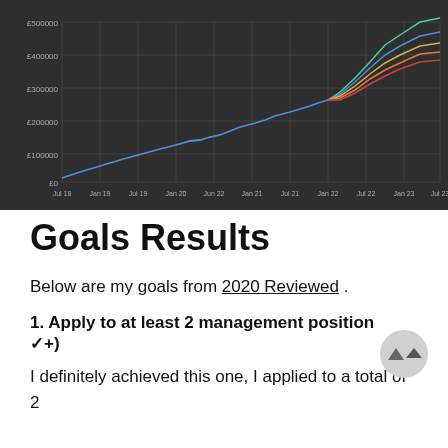[Figure (continuous-plot): Line chart on dark background showing investment/savings growth over time from Jul 18 to Jul 23. Y-axis shows values from £0 to £500000. A single blue line grows steadily until Jan 22, then fans out into multiple colored lines (blue, teal/green, yellow/gold, orange, red) representing different scenarios, all trending upward steeply.]
Goals Results
Below are my goals from 2020 Reviewed .
1. Apply to at least 2 management positions (✓+)
I definitely achieved this one, I applied to a total of 2